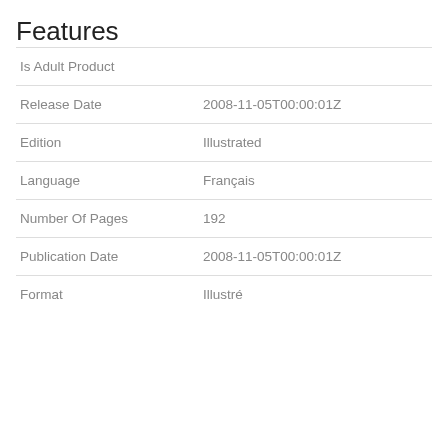Features
|  |  |
| --- | --- |
| Is Adult Product |  |
| Release Date | 2008-11-05T00:00:01Z |
| Edition | Illustrated |
| Language | Français |
| Number Of Pages | 192 |
| Publication Date | 2008-11-05T00:00:01Z |
| Format | Illustré |